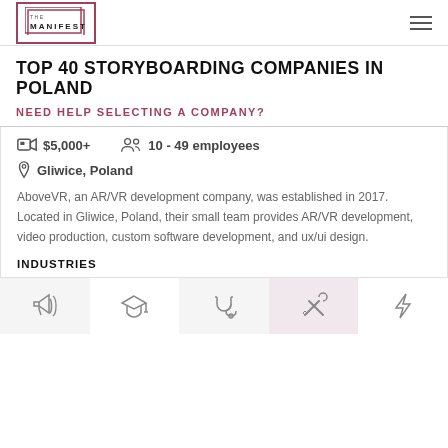THE MANIFEST
TOP 40 STORYBOARDING COMPANIES IN POLAND
NEED HELP SELECTING A COMPANY?
$5,000+  10 - 49 employees  Gliwice, Poland
AboveVR, an AR/VR development company, was established in 2017. Located in Gliwice, Poland, their small team provides AR/VR development, video production, custom software development, and ux/ui design.
INDUSTRIES
[Figure (illustration): Five industry category icons: advertising/marketing (megaphone), education (graduation cap), medical (stethoscope), engineering/tools (wrench and screwdriver), energy (lightning bolt)]